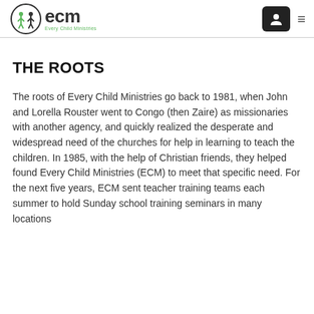ecm Every Child Ministries
THE ROOTS
The roots of Every Child Ministries go back to 1981, when John and Lorella Rouster went to Congo (then Zaire) as missionaries with another agency, and quickly realized the desperate and widespread need of the churches for help in learning to teach the children. In 1985, with the help of Christian friends, they helped found Every Child Ministries (ECM) to meet that specific need. For the next five years, ECM sent teacher training teams each summer to hold Sunday school training seminars in many locations